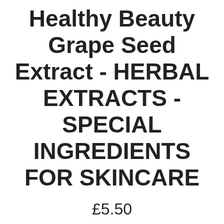Healthy Beauty Grape Seed Extract - HERBAL EXTRACTS - SPECIAL INGREDIENTS FOR SKINCARE
£5.50